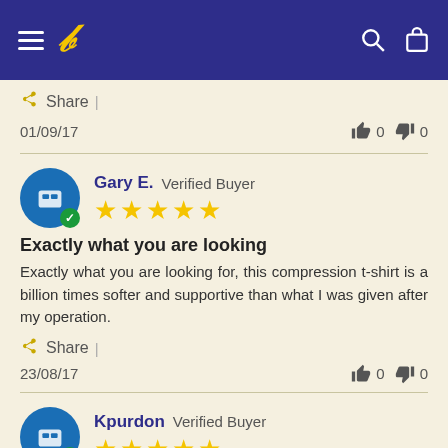Navigation header with hamburger menu, logo, search and bag icons
Share |
01/09/17   👍 0   👎 0
Gary E. Verified Buyer ★★★★★
Exactly what you are looking
Exactly what you are looking for, this compression t-shirt is a billion times softer and supportive than what I was given after my operation.
Share |
23/08/17   👍 0   👎 0
Kpurdon Verified Buyer ★★★★★